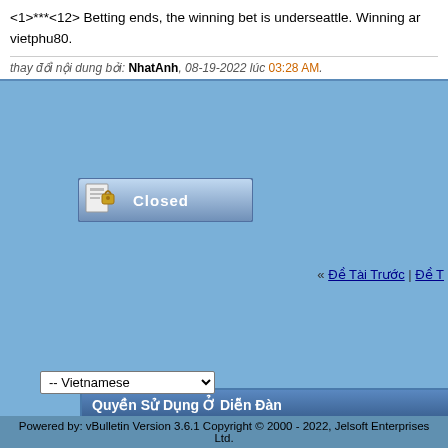<1>***<12> Betting ends, the winning bet is underseattle. Winning ar... vietphu80.
thay đổi nội dung bởi: NhatAnh, 08-19-2022 lúc 03:28 AM.
[Figure (screenshot): Closed button with lock icon]
« Đề Tài Trước | Đề T...
Quyền Sử Dụng Ở Diễn Đàn
Bạn không được quyền gởi bài
Bạn không được quyền gởi trả lời
Bạn không được quyền gởi kèm file
Bạn không được quyền sửa bài
vB code đang Mở
Smilies đang Mở
[IMG] đang Mở
HTML đang Tắt
Múi giờ GMT. Hiện tại là ...
-- Vietnamese
Powered by: vBulletin Version 3.6.1 Copyright © 2000 - 2022, Jelsoft Enterprises Ltd.